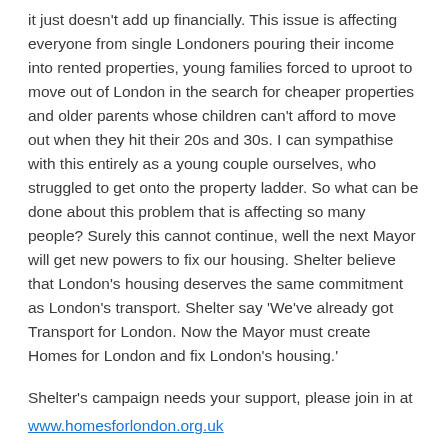it just doesn't add up financially. This issue is affecting everyone from single Londoners pouring their income into rented properties, young families forced to uproot to move out of London in the search for cheaper properties and older parents whose children can't afford to move out when they hit their 20s and 30s. I can sympathise with this entirely as a young couple ourselves, who struggled to get onto the property ladder. So what can be done about this problem that is affecting so many people? Surely this cannot continue, well the next Mayor will get new powers to fix our housing. Shelter believe that London's housing deserves the same commitment as London's transport. Shelter say 'We've already got Transport for London. Now the Mayor must create Homes for London and fix London's housing.'
Shelter's campaign needs your support, please join in at www.homesforlondon.org.uk